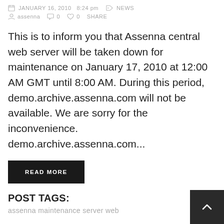JANUARY 16, 2010  8:24 pm   NEWS
assenna  0  0  SHARE
This is to inform you that Assenna central web server will be taken down for maintenance on January 17, 2010 at 12:00 AM GMT until 8:00 AM. During this period, demo.archive.assenna.com will not be available. We are sorry for the inconvenience. demo.archive.assenna.com...
READ MORE
POST TAGS:
assenna  maintenance  server  web